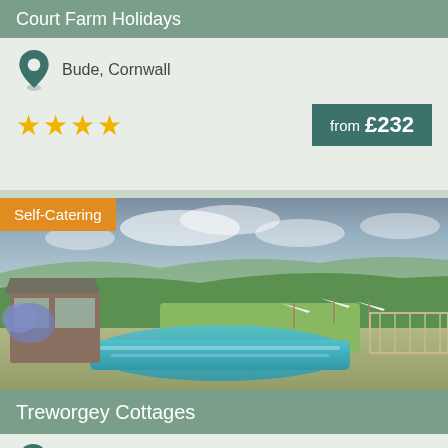Court Farm Holidays
Bude, Cornwall
★★★★ from £232
Self-Catering
[Figure (photo): Aerial view of a swimming pool with sun umbrellas and parasols, stone cottage building with glass windows, surrounding green countryside and rolling hills under a cloudy sky]
Treworgey Cottages
Nr Looe, Cornwall
★★★★★ from £45